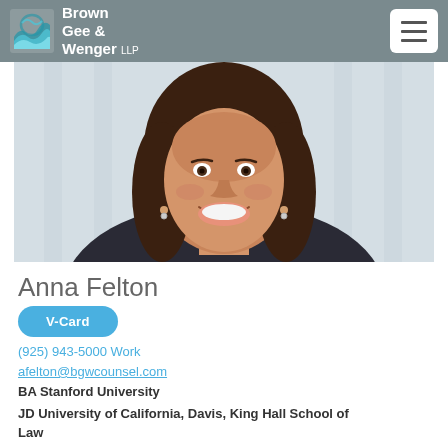Brown Gee & Wenger LLP
[Figure (photo): Professional headshot of Anna Felton, smiling woman with long brown hair, wearing dark clothing, photographed against a blurred architectural background]
Anna Felton
V-Card
(925) 943-5000 Work
afelton@bgwcounsel.com
BA Stanford University
JD University of California, Davis, King Hall School of Law